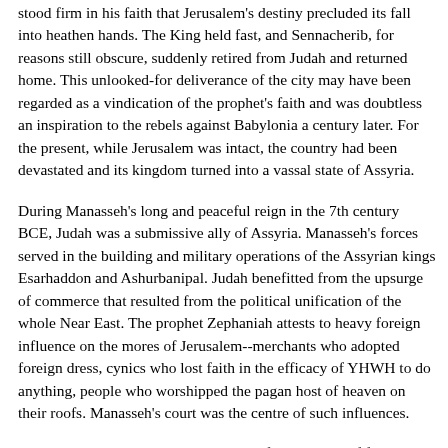stood firm in his faith that Jerusalem's destiny precluded its fall into heathen hands. The King held fast, and Sennacherib, for reasons still obscure, suddenly retired from Judah and returned home. This unlooked-for deliverance of the city may have been regarded as a vindication of the prophet's faith and was doubtless an inspiration to the rebels against Babylonia a century later. For the present, while Jerusalem was intact, the country had been devastated and its kingdom turned into a vassal state of Assyria.
During Manasseh's long and peaceful reign in the 7th century BCE, Judah was a submissive ally of Assyria. Manasseh's forces served in the building and military operations of the Assyrian kings Esarhaddon and Ashurbanipal. Judah benefitted from the upsurge of commerce that resulted from the political unification of the whole Near East. The prophet Zephaniah attests to heavy foreign influence on the mores of Jerusalem--merchants who adopted foreign dress, cynics who lost faith in the efficacy of YHWH to do anything, people who worshipped the pagan host of heaven on their roofs. Manasseh's court was the centre of such influences.
The royal sanctuary became the home of a congeries of foreign gods--the sun, astral deities, and Asherah (the female fertility deity) all had their cults there alongside YHWH. The countryside also was provided with pagan altars and priests, alongside the local YHWH altars that were revived. Presumably, at least some of the blood that Manasseh is said to have spilled freely in Jerusalem